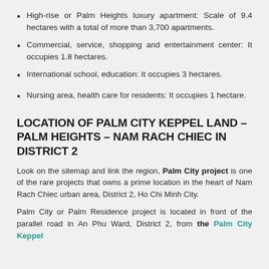High-rise or Palm Heights luxury apartment: Scale of 9.4 hectares with a total of more than 3,700 apartments.
Commercial, service, shopping and entertainment center: It occupies 1.8 hectares.
International school, education: It occupies 3 hectares.
Nursing area, health care for residents: It occupies 1 hectare.
LOCATION OF PALM CITY KEPPEL LAND – PALM HEIGHTS – NAM RACH CHIEC IN DISTRICT 2
Look on the sitemap and link the region, Palm City project is one of the rare projects that owns a prime location in the heart of Nam Rach Chiec urban area, District 2, Ho Chi Minh City.
Palm City or Palm Residence project is located in front of the parallel road in An Phu Ward, District 2, from the Palm City Keppel